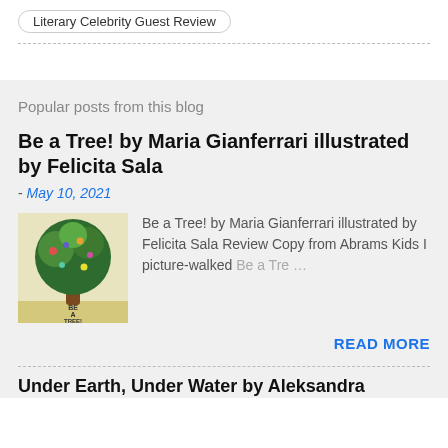Literary Celebrity Guest Review
Popular posts from this blog
Be a Tree! by Maria Gianferrari illustrated by Felicita Sala
- May 10, 2021
[Figure (illustration): Book cover of 'Be a Tree!' showing a large colorful tree with animals, on a cream background with text 'BE A TREE!' at the bottom]
Be a Tree! by Maria Gianferrari illustrated by Felicita Sala Review Copy from Abrams Kids I picture-walked Be a Tre …
READ MORE
Under Earth, Under Water by Aleksandra